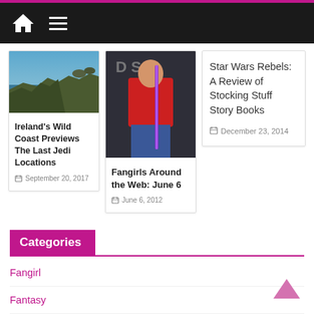Navigation bar with home icon and menu icon
[Figure (photo): Coastal cliffs and ocean view - Ireland wild coast]
Ireland's Wild Coast Previews The Last Jedi Locations
September 20, 2017
[Figure (photo): Woman in red shirt holding lightsaber at convention]
Fangirls Around the Web: June 6
June 6, 2012
Star Wars Rebels: A Review of Stocking Stuff Story Books
December 23, 2014
Categories
Fangirl
Fantasy